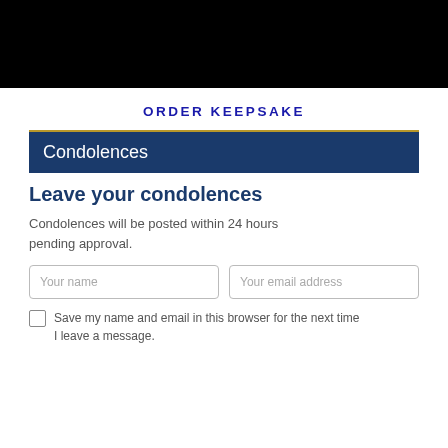[Figure (other): Black banner image at the top of the page]
ORDER KEEPSAKE
Condolences
Leave your condolences
Condolences will be posted within 24 hours pending approval.
Your name [input field]  Your email address [input field]
Save my name and email in this browser for the next time I leave a message.